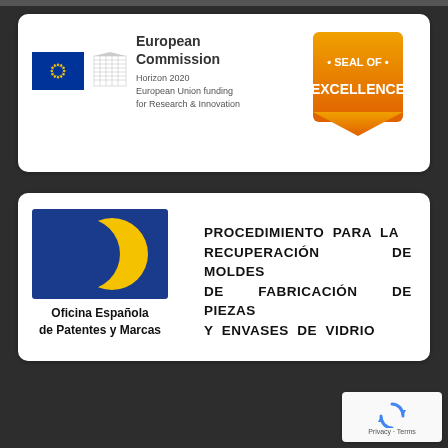[Figure (logo): European Commission logo with flag, building silhouette, and text 'European Commission, Horizon 2020, European Union funding for Research & Innovation', alongside an orange Seal of Excellence badge]
[Figure (logo): Oficina Española de Patentes y Marcas logo: blue rectangle with yellow circle, text below name, and to the right patent title text: PROCEDIMIENTO PARA LA RECUPERACIÓN DE MOLDES DE FABRICACIÓN DE PIEZAS Y ENVASES DE VIDRIO]
[Figure (other): reCAPTCHA widget showing spinning arrows icon with text 'Privacy · Terms']